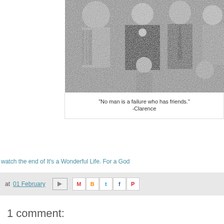[Figure (photo): Black and white still from 'It's a Wonderful Life' showing a group of people including adults and children, cropped at top of page]
"No man is a failure who has friends."
-Clarence
watch the end of It's a Wonderful Life. For a God...
at 01 February
1 comment: